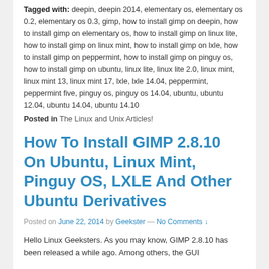Tagged with: deepin, deepin 2014, elementary os, elementary os 0.2, elementary os 0.3, gimp, how to install gimp on deepin, how to install gimp on elementary os, how to install gimp on linux lite, how to install gimp on linux mint, how to install gimp on lxle, how to install gimp on peppermint, how to install gimp on pinguy os, how to install gimp on ubuntu, linux lite, linux lite 2.0, linux mint, linux mint 13, linux mint 17, lxle, lxle 14.04, peppermint, peppermint five, pinguy os, pinguy os 14.04, ubuntu, ubuntu 12.04, ubuntu 14.04, ubuntu 14.10
Posted in The Linux and Unix Articles!
How To Install GIMP 2.8.10 On Ubuntu, Linux Mint, Pinguy OS, LXLE And Other Ubuntu Derivatives
Posted on June 22, 2014 by Geekster — No Comments ↓
Hello Linux Geeksters. As you may know, GIMP 2.8.10 has been released a while ago. Among others, the GUI